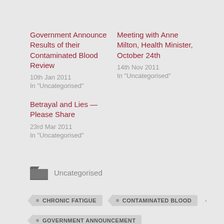Government Announce Results of their Contaminated Blood Review
10th Jan 2011
In "Uncategorised"
Meeting with Anne Milton, Health Minister, October 24th
14th Nov 2011
In "Uncategorised"
Betrayal and Lies — Please Share
23rd Mar 2011
In "Uncategorised"
Uncategorised
CHRONIC FATIGUE
CONTAMINATED BLOOD
GOVERNMENT ANNOUNCEMENT